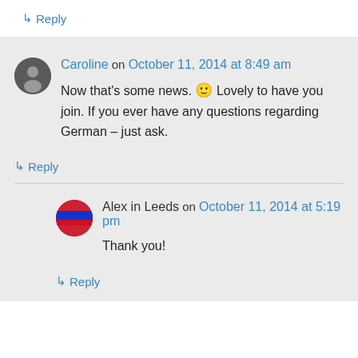↳ Reply
Caroline on October 11, 2014 at 8:49 am
Now that's some news. 🙂 Lovely to have you join. If you ever have any questions regarding German – just ask.
↳ Reply
Alex in Leeds on October 11, 2014 at 5:19 pm
Thank you!
↳ Reply